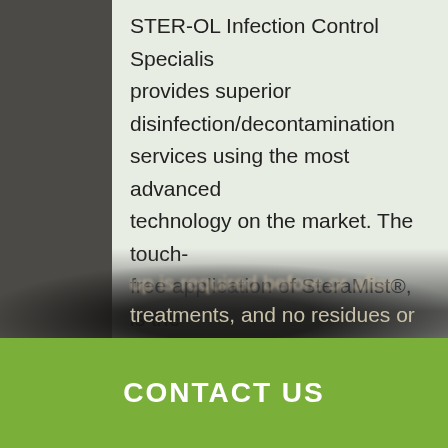STER-OL Infection Control Specialist provides superior disinfection/decontamination services using the most advanced technology on the market. The touch-free application of SteraMist®, is the world's most effective disinfection system which allows us to safely sterilize any environment, with minimal to no interruption. No clean-up is required before or after treatments, and no residues or
CONTACT US